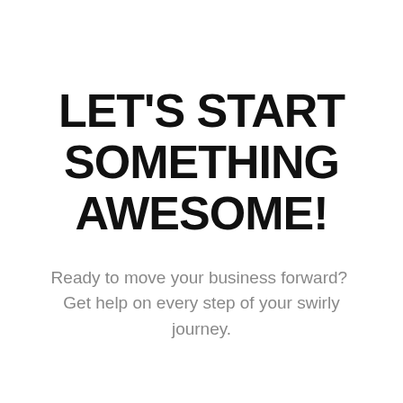LET'S START SOMETHING AWESOME!
Ready to move your business forward?  Get help on every step of your swirly journey.